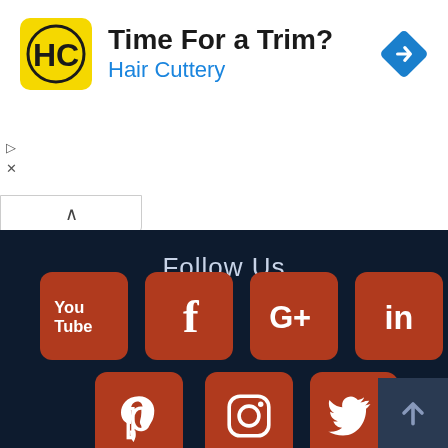[Figure (screenshot): Advertisement banner for Hair Cuttery with yellow logo, headline 'Time For a Trim?' and blue subtext 'Hair Cuttery', plus a blue navigation diamond icon on the right.]
Follow Us
[Figure (infographic): Social media icons grid on dark navy background: YouTube, Facebook, Google+, LinkedIn (top row), Pinterest, Instagram, Twitter (bottom row), all in red/orange tiles.]